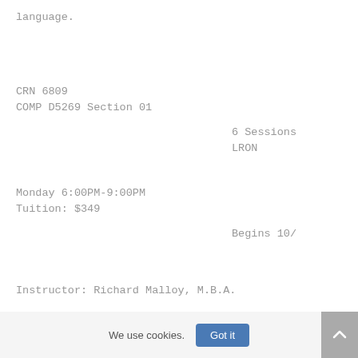language.
CRN 6809
COMP D5269 Section 01
6 Sessions
LRON
Monday 6:00PM-9:00PM
Tuition: $349
Begins 10/
Instructor: Richard Malloy, M.B.A.
We use cookies.  Got it